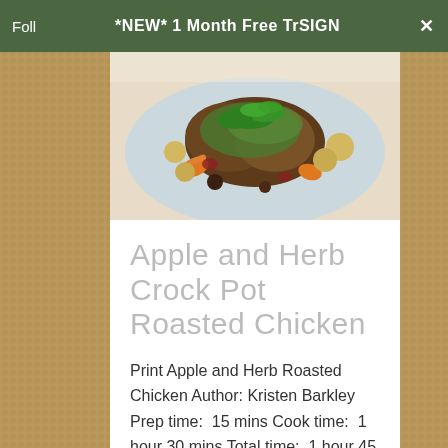Foll  *NEW* 1 Month Free TrSIGN  ✕
[Figure (photo): Photo of Apple and Herb Crock Pot Roasted Chicken dish served on a white plate with vegetables including carrots and potatoes, garnished with green herbs]
Apple and Herb Crock Pot Roasted Chicken
Print Apple and Herb Roasted Chicken Author: Kristen Barkley Prep time: 15 mins Cook time: 1 hour 30 mins Total time: 1 hour 45 mins Serves: 6-8 [...]
Read more >